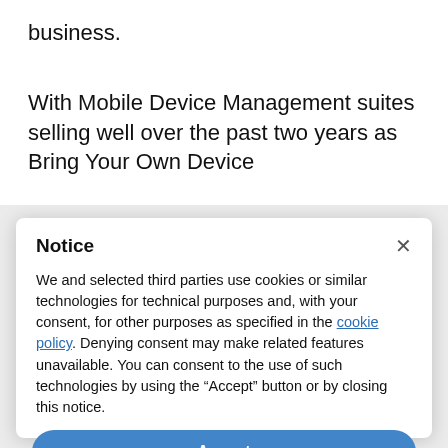business.
With Mobile Device Management suites selling well over the past two years as Bring Your Own Device
Notice
We and selected third parties use cookies or similar technologies for technical purposes and, with your consent, for other purposes as specified in the cookie policy. Denying consent may make related features unavailable. You can consent to the use of such technologies by using the “Accept” button or by closing this notice.
Accept
Learn more and customise